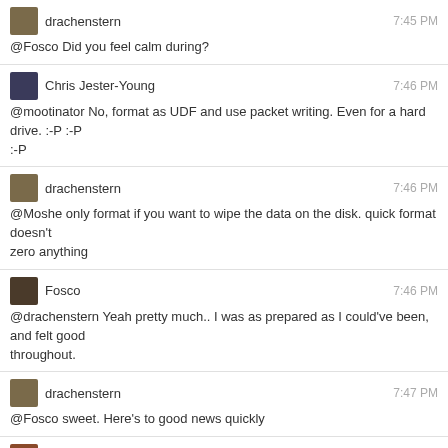drachenstern 7:45 PM
@Fosco Did you feel calm during?
Chris Jester-Young 7:46 PM
@mootinator No, format as UDF and use packet writing. Even for a hard drive. :-P :-P :-P
drachenstern 7:46 PM
@Moshe only format if you want to wipe the data on the disk. quick format doesn't zero anything
Fosco 7:46 PM
@drachenstern Yeah pretty much.. I was as prepared as I could've been, and felt good throughout.
drachenstern 7:47 PM
@Fosco sweet. Here's to good news quickly
Moshe 7:57 PM
@drach thanks. I am not going to format.
I just realized that I may be able to borrow the registry from the new install and then save the old one.
@Fosco good luck!
Pekka 7:58 PM
@Moshe yeah, don't format. The old Windows directory will just be sitting there